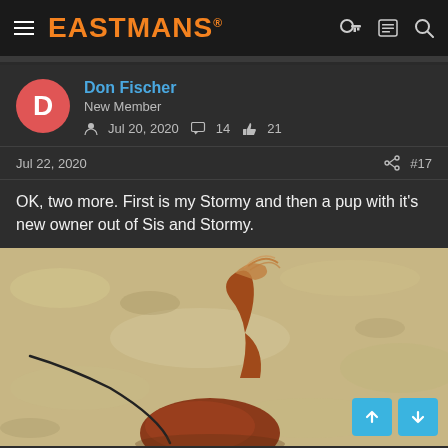EASTMANS
Don Fischer
New Member
Jul 20, 2020  14  21
Jul 22, 2020  #17
OK, two more. First is my Stormy and then a pup with it's new owner out of Sis and Stormy.
[Figure (photo): Partial view of a dog (Stormy) with a reddish-brown tail raised, on a leash, in a dry grassy field background.]